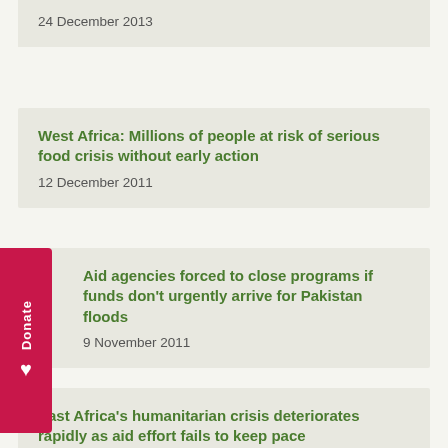24 December 2013
West Africa: Millions of people at risk of serious food crisis without early action
12 December 2011
Aid agencies forced to close programs if funds don't urgently arrive for Pakistan floods
9 November 2011
East Africa's humanitarian crisis deteriorates rapidly as aid effort fails to keep pace